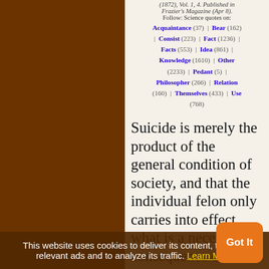(1872), Vol. 1, 4. Published in Frazier's Magazine (Apr 8). Follow: Science quotes on: Acquaintance (37) | Bear (162) | Consist (223) | Fact (1236) | Facts (553) | Idea (861) | Knowledge (1610) | Other (2233) | Pedant (5) | Philosopher (266) | Relation (160) | Themselves (433) | Use (768)
Suicide is merely the product of the general condition of society, and that the individual felon only carries into effect what is a necessary consequence of preceding circumstances. In a given state of society, a certain number of persons must put an end
This website uses cookies to deliver its content, to show relevant ads and to analyze its traffic. Learn More
Got It